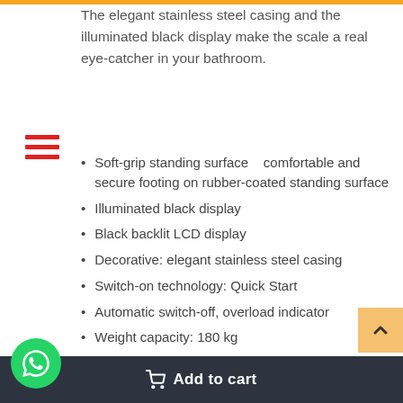The elegant stainless steel casing and the illuminated black display make the scale a real eye-catcher in your bathroom.
Soft-grip standing surface    comfortable and secure footing on rubber-coated standing surface
Illuminated black display
Black backlit LCD display
Decorative: elegant stainless steel casing
Switch-on technology: Quick Start
Automatic switch-off, overload indicator
Weight capacity: 180 kg
Digit size: 33 mm
Weight capacity: Up to 180 kg
Graduation: 50 grams
Add to cart